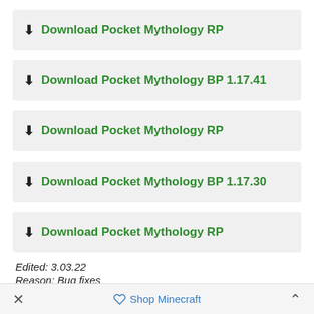⬇ Download Pocket Mythology RP
⬇ Download Pocket Mythology BP 1.17.41
⬇ Download Pocket Mythology RP
⬇ Download Pocket Mythology BP 1.17.30
⬇ Download Pocket Mythology RP
Edited: 3.03.22
Reason: Bug fixes
× Shop Minecraft ∧